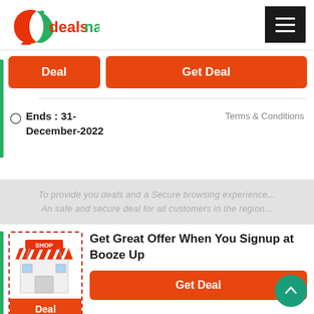[Figure (logo): Dealsnado logo - red and green stylized D with text dealsnado]
[Figure (other): Hamburger menu button (three horizontal lines) on black background]
Deal
Get Deal
Ends : 31-December-2022
Terms & Conditions
To provide you deals and a Secure browsing experience...
[Figure (illustration): Shop storefront illustration with SHOP sign and striped red/white awning]
Deal
Get Great Offer When You Signup at Booze Up
Get Deal